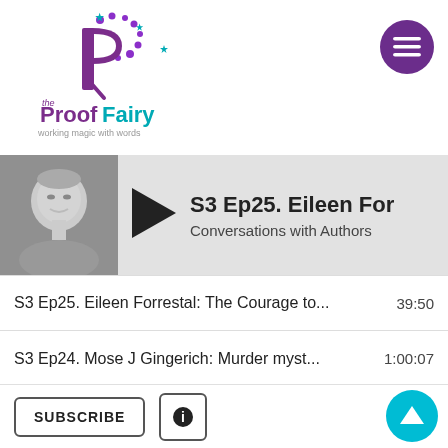[Figure (logo): The Proof Fairy logo - stylized P with stars, text 'the ProofFairy working magic with words']
[Figure (screenshot): Podcast player interface screenshot showing episode player bar with photo, play button, episode title 'S3 Ep25. Eileen For...' and subtitle 'Conversations with Authors']
S3 Ep25. Eileen Forrestal: The Courage to... 39:50
S3 Ep24. Mose J Gingerich: Murder myst... 1:00:07
S3 Ep23. Linda Jämsén, Memoir Writer: O... 40:42